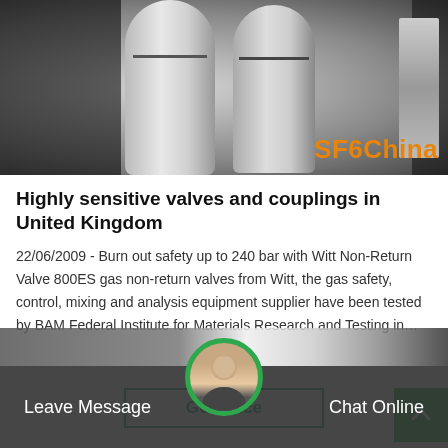[Figure (photo): Photo of two white gas cylinders with Chinese text, on a dark background, with SF6China orange watermark in bottom right corner]
Highly sensitive valves and couplings in United Kingdom
22/06/2009 - Burn out safety up to 240 bar with Witt Non-Return Valve 800ES gas non-return valves from Witt, the gas safety, control, mixing and analysis equipment supplier have been tested by BAM Federal Institute for Materials Research and Testing in…